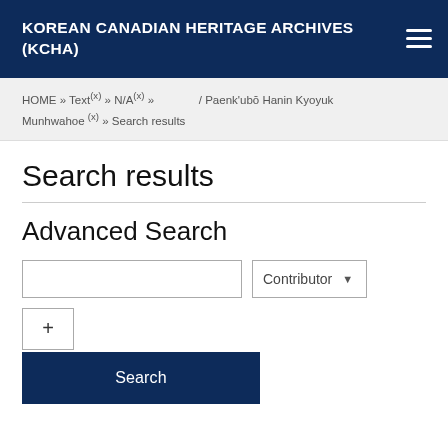KOREAN CANADIAN HERITAGE ARCHIVES (KCHA)
HOME » Text(x) » N/A(x) » / Paenk'ubŏ Hanin Kyoyuk Munhwahoe(x) » Search results
Search results
Advanced Search